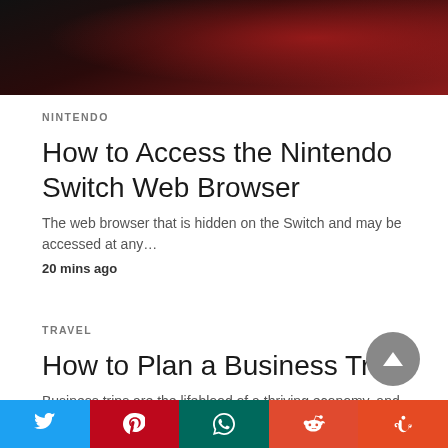[Figure (photo): Dark hero image with red and dark tones, appears to be a gaming-related image]
NINTENDO
How to Access the Nintendo Switch Web Browser
The web browser that is hidden on the Switch and may be accessed at any…
20 mins ago
TRAVEL
How to Plan a Business Trip
Business trips are the lifeblood of a thriving economy, and an essential provision for business…
1 hour ago